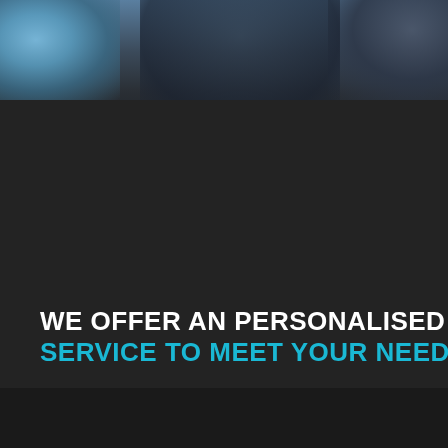[Figure (photo): Dark moody background image with blurred figures, predominantly dark grey/charcoal tones with a blue-tinted area on the upper left]
WE OFFER AN PERSONALISED SERVICE TO MEET YOUR NEEDS